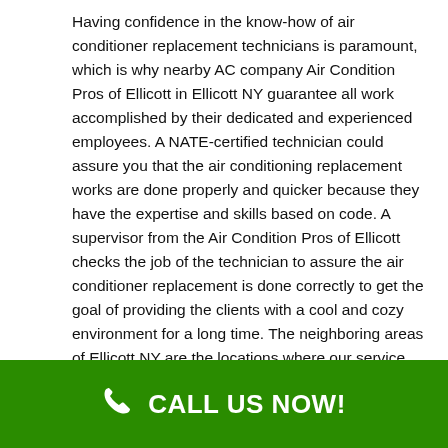Having confidence in the know-how of air conditioner replacement technicians is paramount, which is why nearby AC company Air Condition Pros of Ellicott in Ellicott NY guarantee all work accomplished by their dedicated and experienced employees. A NATE-certified technician could assure you that the air conditioning replacement works are done properly and quicker because they have the expertise and skills based on code. A supervisor from the Air Condition Pros of Ellicott checks the job of the technician to assure the air conditioner replacement is done correctly to get the goal of providing the clients with a cool and cozy environment for a long time. The neighboring areas of Ellicott NY are the locations where our service can reach.
Local Air Conditioner Service
Do you want an organization with capable air conditioning services? If you require our service and
CALL US NOW!